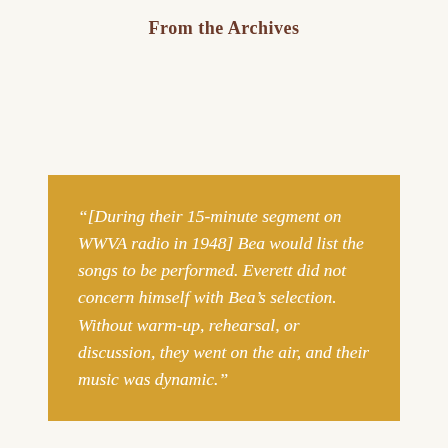From the Archives
“[During their 15-minute segment on WWVA radio in 1948] Bea would list the songs to be performed. Everett did not concern himself with Bea’s selection. Without warm-up, rehearsal, or discussion, they went on the air, and their music was dynamic.”